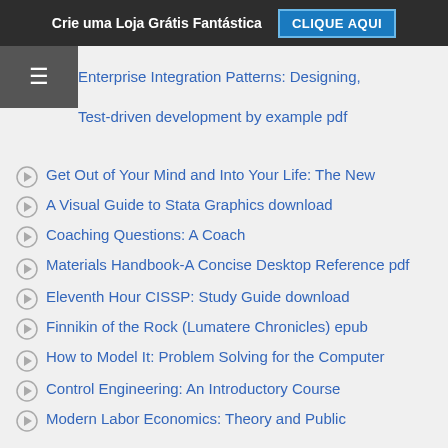Crie uma Loja Grátis Fantástica | CLIQUE AQUI
Enterprise Integration Patterns: Designing,
Test-driven development by example pdf
Get Out of Your Mind and Into Your Life: The New
A Visual Guide to Stata Graphics download
Coaching Questions: A Coach
Materials Handbook-A Concise Desktop Reference pdf
Eleventh Hour CISSP: Study Guide download
Finnikin of the Rock (Lumatere Chronicles) epub
How to Model It: Problem Solving for the Computer
Control Engineering: An Introductory Course
Modern Labor Economics: Theory and Public